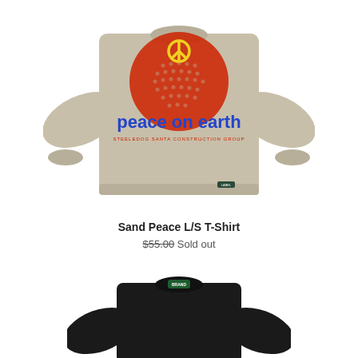[Figure (photo): Sand-colored long-sleeve T-shirt with 'Peace on Earth' graphic featuring a red dotted globe and yellow peace symbol, blue flame lettering, small red text below, displayed flat on white background]
Sand Peace L/S T-Shirt
$55.00 Sold out
[Figure (photo): Black long-sleeve T-shirt with small green label at neckline, displayed flat on white background, partially visible (cropped)]